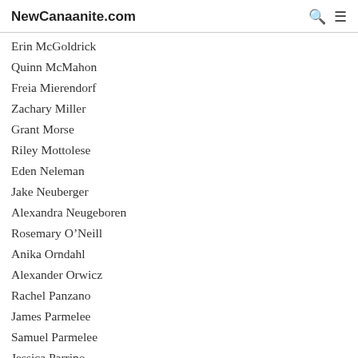NewCanaanite.com
Erin McGoldrick
Quinn McMahon
Freia Mierendorf
Zachary Miller
Grant Morse
Riley Mottolese
Eden Neleman
Jake Neuberger
Alexandra Neugeboren
Rosemary O’Neill
Anika Orndahl
Alexander Orwicz
Rachel Panzano
James Parmelee
Samuel Parmelee
Jessica Parrino
Derek Perone